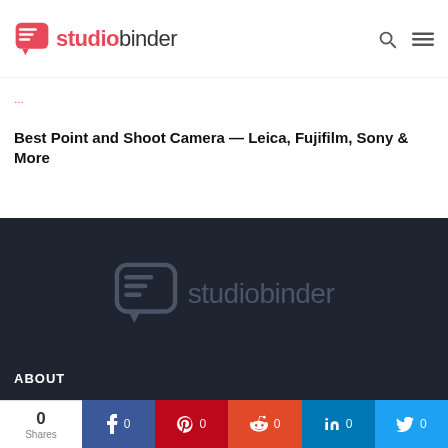studiobinder
Best Point and Shoot Camera — Leica, Fujifilm, Sony & More
[Figure (logo): StudioBinder logo (chat bubble icon with 'studiobinder' text) on dark background]
ABOUT
0 Shares | Facebook 0 | Pinterest 0 | Reddit 0 | LinkedIn 0 | Twitter 0